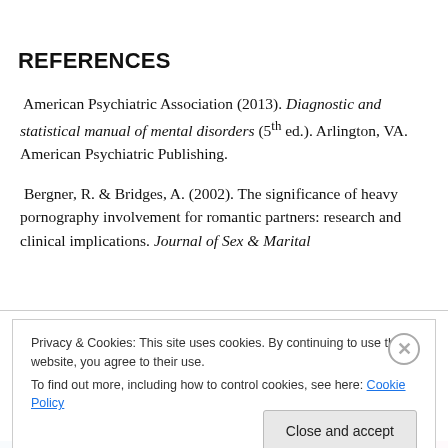REFERENCES
American Psychiatric Association (2013). Diagnostic and statistical manual of mental disorders (5th ed.). Arlington, VA. American Psychiatric Publishing.
Bergner, R. & Bridges, A. (2002). The significance of heavy pornography involvement for romantic partners: research and clinical implications. Journal of Sex & Marital
Privacy & Cookies: This site uses cookies. By continuing to use this website, you agree to their use.
To find out more, including how to control cookies, see here: Cookie Policy
Close and accept